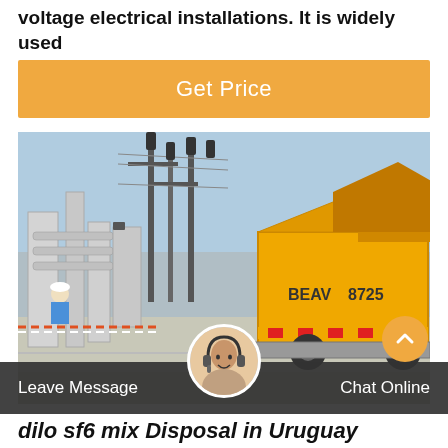voltage electrical installations. It is widely used
Get Price
[Figure (photo): Electrical substation with high-voltage equipment and a yellow truck/vehicle on a concrete road. A worker in safety gear is visible on the left side.]
Leave Message
Chat Online
dilo sf6 mix Disposal in Uruguay